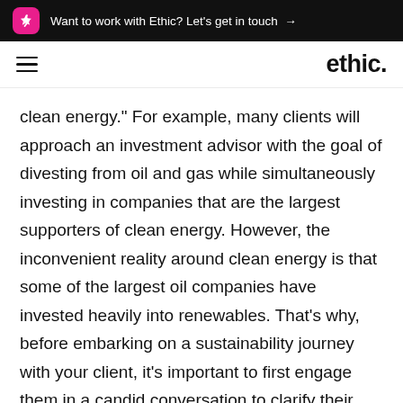Want to work with Ethic? Let's get in touch →
ethic.
clean energy.” For example, many clients will approach an investment advisor with the goal of divesting from oil and gas while simultaneously investing in companies that are the largest supporters of clean energy. However, the inconvenient reality around clean energy is that some of the largest oil companies have invested heavily into renewables. That’s why, before embarking on a sustainability journey with your client, it’s important to first engage them in a candid conversation to clarify their expectations and explain the trade-offs inherent to investing for environmental and societal impact, while